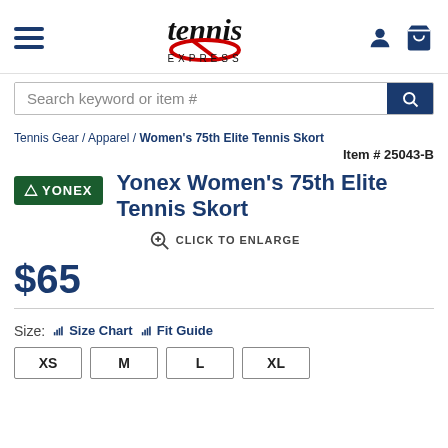Tennis Express (navigation header with hamburger menu, logo, user and cart icons)
Search keyword or item #
Tennis Gear / Apparel / Women's 75th Elite Tennis Skort
Item # 25043-B
Yonex Women's 75th Elite Tennis Skort
CLICK TO ENLARGE
$65
Size: Size Chart Fit Guide
XS M L XL